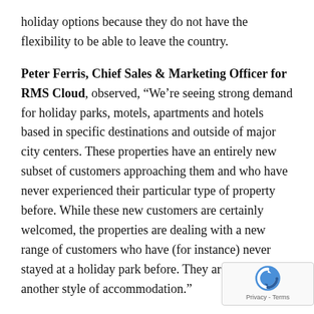holiday options because they do not have the flexibility to be able to leave the country.
Peter Ferris, Chief Sales & Marketing Officer for RMS Cloud, observed, “We’re seeing strong demand for holiday parks, motels, apartments and hotels based in specific destinations and outside of major city centers. These properties have an entirely new subset of customers approaching them and who have never experienced their particular type of property before. While these new customers are certainly welcomed, the properties are dealing with a new range of customers who have (for instance) never stayed at a holiday park before. They are used to another style of accommodation.”
As a result, accommodation providers benefitting new customer segments due to international tra...